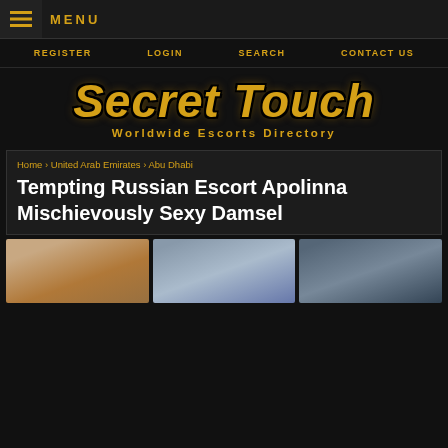≡ MENU
REGISTER   LOGIN   SEARCH   CONTACT US
[Figure (logo): Secret Touch Worldwide Escorts Directory logo with gold italic text on dark background]
Home › United Arab Emirates › Abu Dhabi
Tempting Russian Escort Apolinna Mischievously Sexy Damsel
[Figure (photo): Three thumbnail photos of a blonde woman]